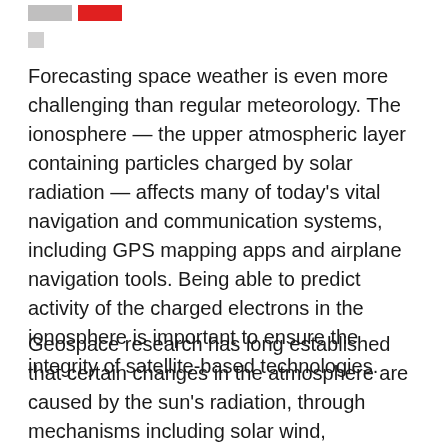[gray block] [red block]
Forecasting space weather is even more challenging than regular meteorology. The ionosphere — the upper atmospheric layer containing particles charged by solar radiation — affects many of today’s vital navigation and communication systems, including GPS mapping apps and airplane navigation tools. Being able to predict activity of the charged electrons in the ionosphere is important to ensure the integrity of satellite-based technologies.
Geospace research has long established that certain changes in the atmosphere are caused by the sun’s radiation, through mechanisms including solar wind, geomagnetic storms, and solar flares. Coupling